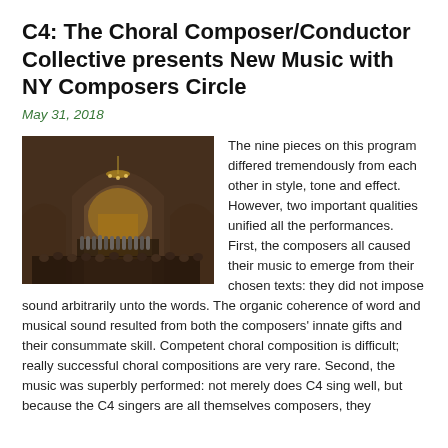C4: The Choral Composer/Conductor Collective presents New Music with NY Composers Circle
May 31, 2018
[Figure (photo): Interior of a grand church with arched stone ceilings, chandeliers, ornate altar, and a choral ensemble performing on stage before a seated audience.]
The nine pieces on this program differed tremendously from each other in style, tone and effect. However, two important qualities unified all the performances. First, the composers all caused their music to emerge from their chosen texts: they did not impose sound arbitrarily unto the words. The organic coherence of word and musical sound resulted from both the composers' innate gifts and their consummate skill. Competent choral composition is difficult; really successful choral compositions are very rare. Second, the music was superbly performed: not merely does C4 sing well, but because the C4 singers are all themselves composers, they